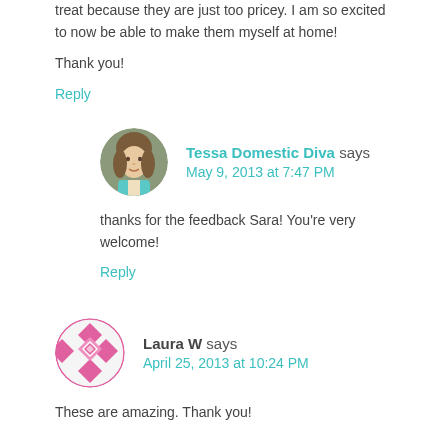treat because they are just too pricey. I am so excited to now be able to make them myself at home!
Thank you!
Reply
Tessa Domestic Diva says
May 9, 2013 at 7:47 PM
thanks for the feedback Sara! You're very welcome!
Reply
Laura W says
April 25, 2013 at 10:24 PM
These are amazing. Thank you!